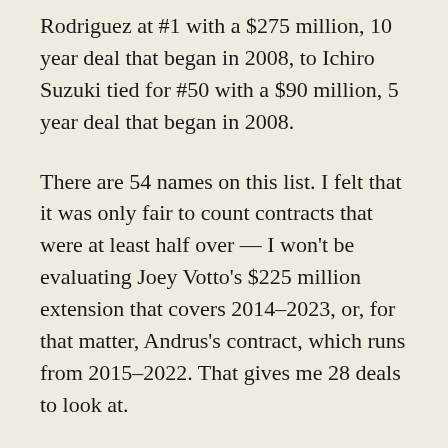Rodriguez at #1 with a $275 million, 10 year deal that began in 2008, to Ichiro Suzuki tied for #50 with a $90 million, 5 year deal that began in 2008.
There are 54 names on this list. I felt that it was only fair to count contracts that were at least half over — I won't be evaluating Joey Votto's $225 million extension that covers 2014–2023, or, for that matter, Andrus's contract, which runs from 2015–2022. That gives me 28 deals to look at.
One point bears mentioning: Many of these deals were signed long before they were actually supposed to start taking place. The